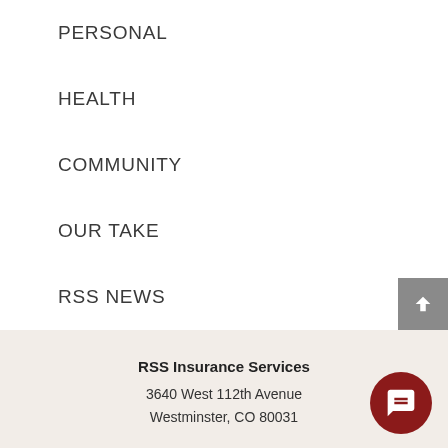PERSONAL
HEALTH
COMMUNITY
OUR TAKE
RSS NEWS
RSS Insurance Services
3640 West 112th Avenue
Westminster, CO 80031